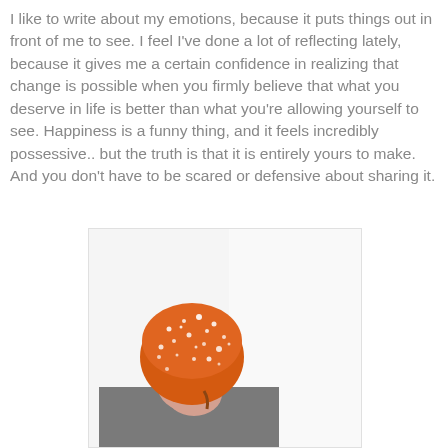I like to write about my emotions, because it puts things out in front of me to see. I feel I've done a lot of reflecting lately, because it gives me a certain confidence in realizing that change is possible when you firmly believe that what you deserve in life is better than what you're allowing yourself to see. Happiness is a funny thing, and it feels incredibly possessive.. but the truth is that it is entirely yours to make. And you don't have to be scared or defensive about sharing it.
[Figure (photo): A person wearing an orange knit hat covered in snow/frost, looking downward, wearing a grey coat. The background is white/overexposed.]